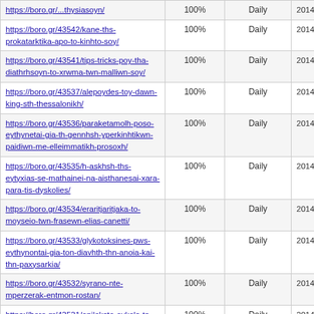| URL | Priority | Change Frequency | Last Modified |
| --- | --- | --- | --- |
| https://boro.gr/.../hpv-ypeythynos-gia-kardiaggeiaka-epeisodia-kai-apovoles/ [partial top] | 100% | Daily | 2014-02-25 17:42 |
| https://boro.gr/43542/kane-ths-prokatarktika-apo-to-kinhto-soy/ | 100% | Daily | 2014-02-25 17:28 |
| https://boro.gr/43541/tips-tricks-poy-tha-diathrhsoyn-to-xrwma-twn-malliwn-soy/ | 100% | Daily | 2014-02-25 17:25 |
| https://boro.gr/43537/alepoydes-toy-dawn-king-sth-thessalonikh/ | 100% | Daily | 2014-02-25 17:09 |
| https://boro.gr/43536/paraketamolh-poso-eythynetai-gia-th-gennhsh-yperkinhtikwn-paidiwn-me-elleimmatikh-prosoxh/ | 100% | Daily | 2014-02-25 17:09 |
| https://boro.gr/43535/h-askhsh-ths-eytyxias-se-mathainei-na-aisthanesai-xara-para-tis-dyskolies/ | 100% | Daily | 2014-02-25 17:09 |
| https://boro.gr/43534/eraritjaritjaka-to-moyseio-twn-frasewn-elias-canetti/ | 100% | Daily | 2014-02-25 17:04 |
| https://boro.gr/43533/glykotoksines-pws-eythynontai-gia-ton-diavhth-thn-anoia-kai-thn-paxysarkia/ | 100% | Daily | 2014-02-25 17:02 |
| https://boro.gr/43532/syrano-nte-mperzerak-entmon-rostan/ | 100% | Daily | 2014-02-25 16:59 |
| https://boro.gr/43531/epilekste-eykola-ta-loyloydia-toy-gamoy-sas/ | 100% | Daily | 2014-02-25 16:57 |
| https://boro.gr/43530/hpv-ypeythynos-gia-kardiaggeiaka-epeisodia-kai-apovoles/ | 100% | Daily | 2014-02-25 16:49 |